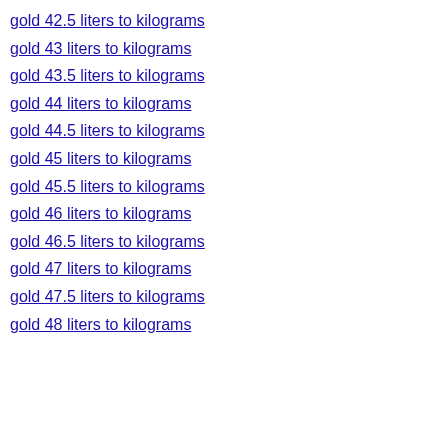gold 42.5 liters to kilograms
gold 43 liters to kilograms
gold 43.5 liters to kilograms
gold 44 liters to kilograms
gold 44.5 liters to kilograms
gold 45 liters to kilograms
gold 45.5 liters to kilograms
gold 46 liters to kilograms
gold 46.5 liters to kilograms
gold 47 liters to kilograms
gold 47.5 liters to kilograms
gold 48 liters to kilograms